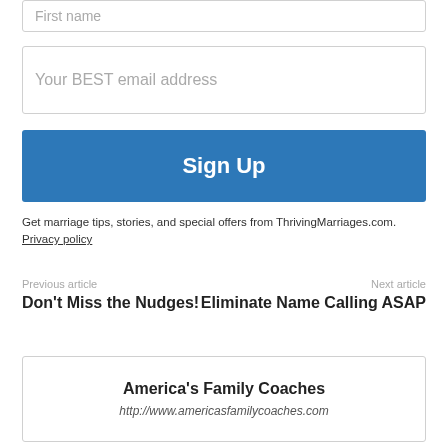First name
Your BEST email address
Sign Up
Get marriage tips, stories, and special offers from ThrivingMarriages.com.
Privacy policy
Previous article
Don't Miss the Nudges!
Next article
Eliminate Name Calling ASAP
America's Family Coaches
http://www.americasfamilycoaches.com